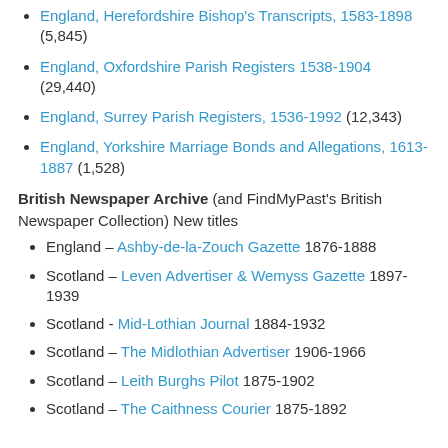England, Herefordshire Bishop's Transcripts, 1583-1898 (5,845)
England, Oxfordshire Parish Registers 1538-1904 (29,440)
England, Surrey Parish Registers, 1536-1992 (12,343)
England, Yorkshire Marriage Bonds and Allegations, 1613-1887 (1,528)
British Newspaper Archive (and FindMyPast's British Newspaper Collection) New titles
England – Ashby-de-la-Zouch Gazette 1876-1888
Scotland – Leven Advertiser & Wemyss Gazette 1897-1939
Scotland - Mid-Lothian Journal 1884-1932
Scotland – The Midlothian Advertiser 1906-1966
Scotland – Leith Burghs Pilot 1875-1902
Scotland – The Caithness Courier 1875-1892